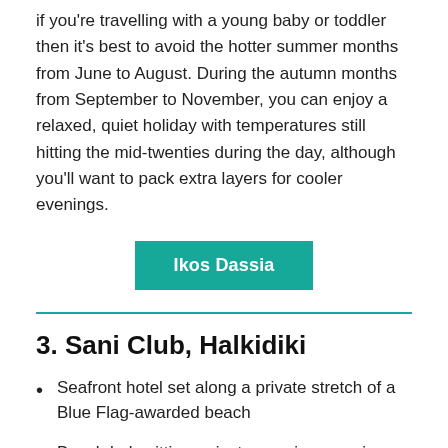if you're travelling with a young baby or toddler then it's best to avoid the hotter summer months from June to August. During the autumn months from September to November, you can enjoy a relaxed, quiet holiday with temperatures still hitting the mid-twenties during the day, although you'll want to pack extra layers for cooler evenings.
Ikos Dassia
3. Sani Club, Halkidiki
Seafront hotel set along a private stretch of a Blue Flag-awarded beach
Beach babysitting, private nannies, evening babysitters and an OFSTED-standard nursery are all available